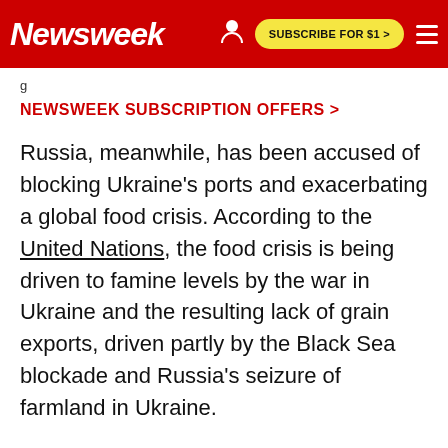Newsweek | SUBSCRIBE FOR $1 >
NEWSWEEK SUBSCRIPTION OFFERS >
Russia, meanwhile, has been accused of blocking Ukraine's ports and exacerbating a global food crisis. According to the United Nations, the food crisis is being driven to famine levels by the war in Ukraine and the resulting lack of grain exports, driven partly by the Black Sea blockade and Russia's seizure of farmland in Ukraine.